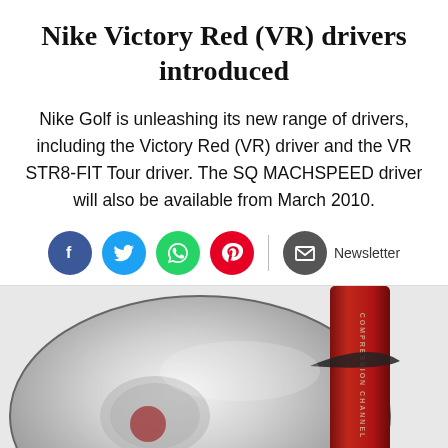Nike Victory Red (VR) drivers introduced
Nike Golf is unleashing its new range of drivers, including the Victory Red (VR) driver and the VR STR8-FIT Tour driver. The SQ MACHSPEED driver will also be available from March 2010.
[Figure (infographic): Social sharing buttons: Facebook (blue circle), Twitter (light blue circle), WhatsApp (green circle), Pinterest (red circle), separator line, email/newsletter button (grey circle with envelope icon and 'Newsletter' text)]
[Figure (photo): Close-up photo of a Nike Victory Red golf driver club head, silver/chrome finish with red accents and Nike swoosh logo visible, showing the top of the club head]